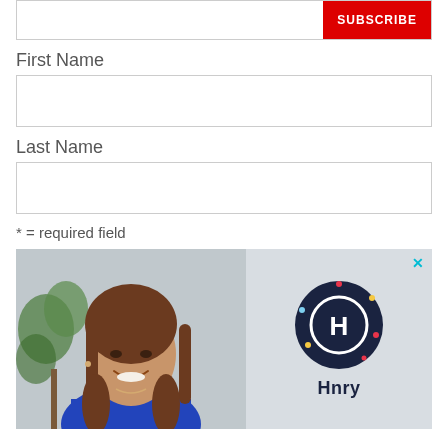[Figure (screenshot): Email subscription form input box with red SUBSCRIBE button]
First Name
[Figure (screenshot): First Name text input box]
Last Name
[Figure (screenshot): Last Name text input box]
* = required field
[Figure (photo): Advertisement image showing a smiling woman with long brown hair wearing a blue top, with a plant in the background on the left, and the Hnry logo (dark navy circle with H letter and colorful dots) with text 'Hnry' on the right side. An X close button is in the top right corner.]